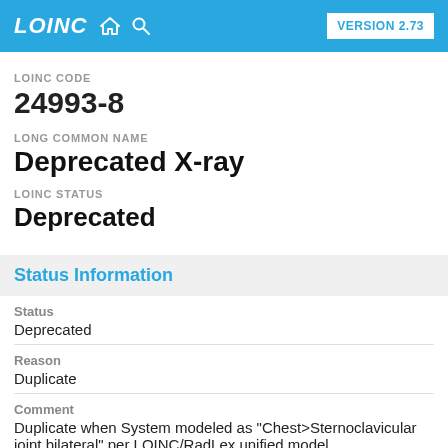LOINC  VERSION 2.73
LOINC CODE
24993-8
LONG COMMON NAME
Deprecated X-ray
LOINC STATUS
Deprecated
Status Information
Status
Deprecated
Reason
Duplicate
Comment
Duplicate when System modeled as "Chest>Sternoclavicular joint bilateral" per LOINC/RadLex unified model